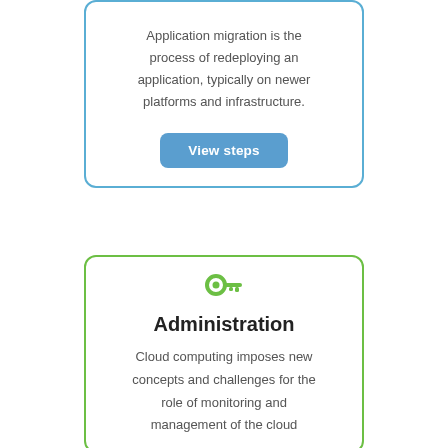Application migration is the process of redeploying an application, typically on newer platforms and infrastructure.
[Figure (other): A blue rounded-rectangle button labeled 'View steps']
[Figure (other): Green key emoji icon]
Administration
Cloud computing imposes new concepts and challenges for the role of monitoring and management of the cloud